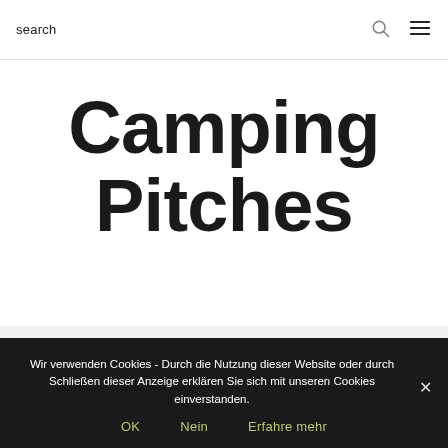search
Camping Pitches
For caravans, campers
Wir verwenden Cookies - Durch die Nutzung dieser Website oder durch Schließen dieser Anzeige erklären Sie sich mit unseren Cookies einverstanden.
OK
Nein
Erfahre mehr